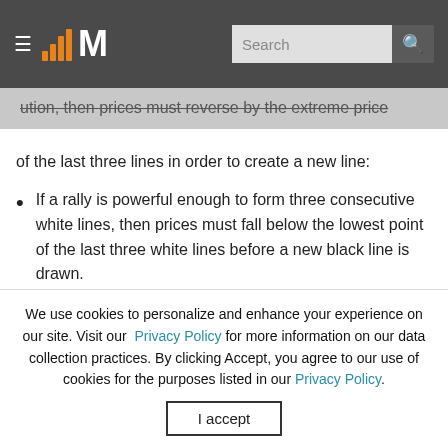MarketSmith header with logo and search bar
ution, then prices must reverse by the extreme price of the last three lines in order to create a new line:
If a rally is powerful enough to form three consecutive white lines, then prices must fall below the lowest point of the last three white lines before a new black line is drawn.
If a sell-off is powerful enough to form three consecutive black lines, then prices must rise above the highest point of the last three black
We use cookies to personalize and enhance your experience on our site. Visit our Privacy Policy for more information on our data collection practices. By clicking Accept, you agree to our use of cookies for the purposes listed in our Privacy Policy.
I accept